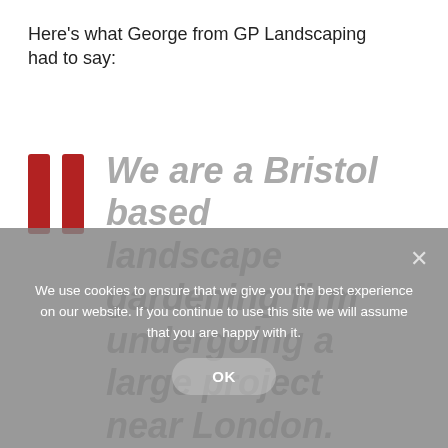Here's what George from GP Landscaping had to say:
We are a Bristol based landscape gardening firm undergoing a large project near London. Before we began the project the garden had a
We use cookies to ensure that we give you the best experience on our website. If you continue to use this site we will assume that you are happy with it.